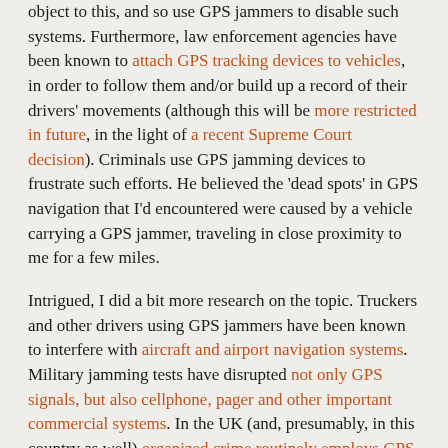object to this, and so use GPS jammers to disable such systems. Furthermore, law enforcement agencies have been known to attach GPS tracking devices to vehicles, in order to follow them and/or build up a record of their drivers' movements (although this will be more restricted in future, in the light of a recent Supreme Court decision). Criminals use GPS jamming devices to frustrate such efforts. He believed the 'dead spots' in GPS navigation that I'd encountered were caused by a vehicle carrying a GPS jammer, traveling in close proximity to me for a few miles.
Intrigued, I did a bit more research on the topic. Truckers and other drivers using GPS jammers have been known to interfere with aircraft and airport navigation systems. Military jamming tests have disrupted not only GPS signals, but also cellphone, pager and other important commercial systems. In the UK (and, presumably, in this country as well) organized crime routinely employs GPS jammers when stealing or hijacking vehicles, to frustrate any tracking hardware or software that may be hidden on board. Prisons are faced with huge security risks in the proliferation of cellphones among inmates, who use them to communicate with family members and gang associates, arrange drug deals, plan escapes, and even organize 'hits' on criminal rivals, or potential